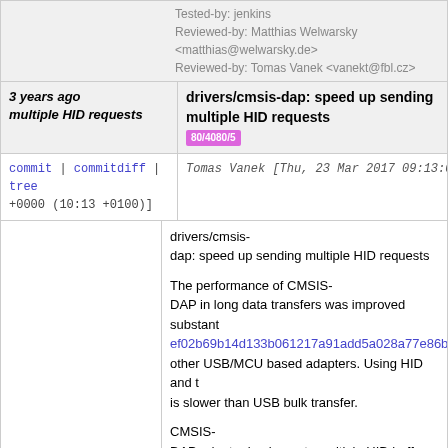Tested-by: jenkins
Reviewed-by: Matthias Welwarsky <matthias@welwarsky.de>
Reviewed-by: Tomas Vanek <vanekt@fbl.cz>
3 years ago multiple HID requests  drivers/cmsis-dap: speed up sending multiple HID requests  80/4080/5
commit | commitdiff | tree
+0000 (10:13 +0100)]   Tomas Vanek [Thu, 23 Mar 2017 09:13:09 +0000 (10:13 +0100)]
drivers/cmsis-dap: speed up sending multiple HID requests

The performance of CMSIS-DAP in long data transfers was improved substant ef02b69b14d133b061217a91add5a028a77e86bc other USB/MCU based adapters. Using HID and t is slower than USB bulk transfer.

CMSIS-DAP adapter implements multiple HID buffer hand reads number of buffers from info command.

This change adds capability to sumbit more than o driver waits for a HID response. This scenario is u Results show about double speed on USB FS anc
| w/o this change | with n
------------------------------------+------------------